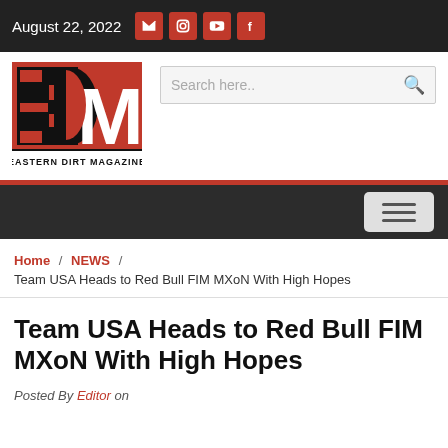August 22, 2022
[Figure (logo): Eastern Dirt Magazine logo - red and black EDM letters with 'EASTERN DIRT MAGAZINE' text below]
Search here..
Home / NEWS / Team USA Heads to Red Bull FIM MXoN With High Hopes
Team USA Heads to Red Bull FIM MXoN With High Hopes
Posted By Editor on